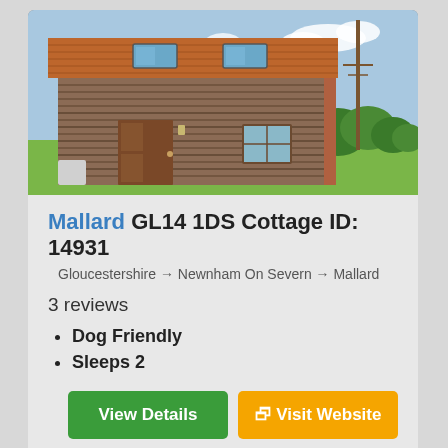[Figure (photo): Exterior photo of Mallard cottage showing a wooden clad barn-style building with terracotta tiled roof, skylights, wooden door, a small window, and surrounding green countryside under a blue sky.]
Mallard GL14 1DS Cottage ID: 14931
Gloucestershire → Newnham On Severn → Mallard
3 reviews
Dog Friendly
Sleeps 2
View Details
Visit Website